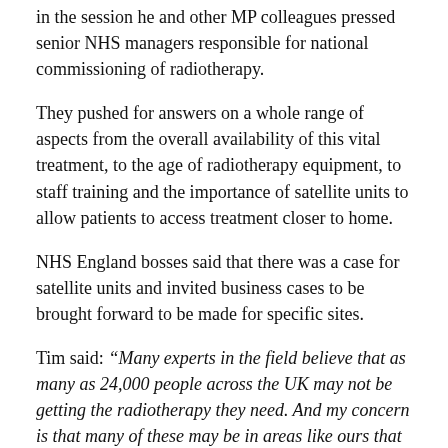in the session he and other MP colleagues pressed senior NHS managers responsible for national commissioning of radiotherapy.
They pushed for answers on a whole range of aspects from the overall availability of this vital treatment, to the age of radiotherapy equipment, to staff training and the importance of satellite units to allow patients to access treatment closer to home.
NHS England bosses said that there was a case for satellite units and invited business cases to be brought forward to be made for specific sites.
Tim said: “Many experts in the field believe that as many as 24,000 people across the UK may not be getting the radiotherapy they need. And my concern is that many of these may be in areas like ours that are predominantly